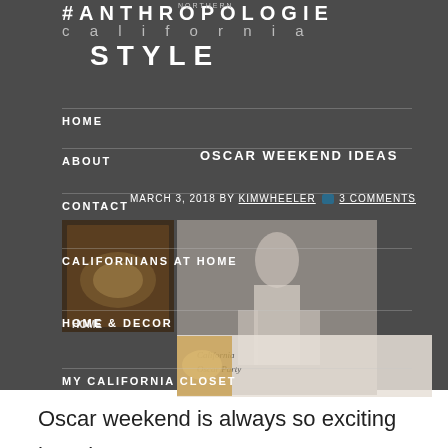#ANTHROPOLOGIE NORTHERN california STYLE
HOME
OSCAR WEEKEND IDEAS
ABOUT
MARCH 3, 2018 BY KIMWHEELER 3 COMMENTS
CONTACT
[Figure (photo): Small food/party styled photo and larger fashion editorial photo showing a woman, with California Oscar Party text overlay]
CALIFORNIANS AT HOME
HOME & DECOR
MY CALIFORNIA CLOSET
Oscar weekend is always so exciting here in California! Many people host parties and if the weather is nice you can really have an